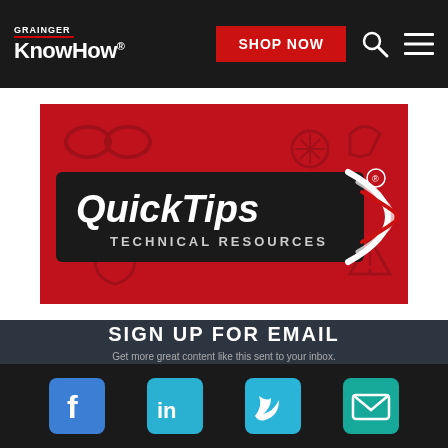GRAINGER KnowHow® — SHOP NOW
[Figure (logo): QuickTips Technical Resources logo on red background with safety/tool icons]
SIGN UP FOR EMAIL
Get more great content like this sent to your inbox.
[Figure (infographic): Social media icon bar: Facebook, LinkedIn, Twitter, Email]